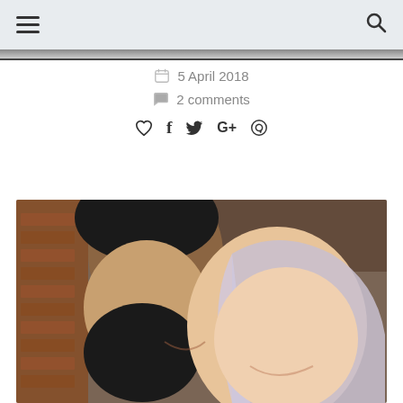Navigation header with hamburger menu and search icon
5 April 2018
2 comments
♡ f 𝕏 G+ ⓟ (social share icons)
[Figure (photo): Close-up selfie photo of a bearded man with dark hair and a woman with silver/lavender hair, both smiling, taken outdoors near brick wall]